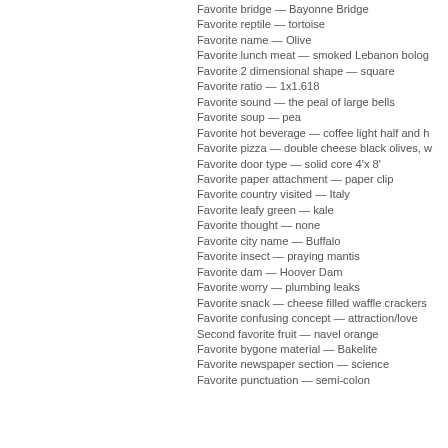Favorite bridge — Bayonne Bridge
Favorite reptile — tortoise
Favorite name — Olive
Favorite lunch meat — smoked Lebanon bolog
Favorite 2 dimensional shape — square
Favorite ratio — 1x1.618
Favorite sound — the peal of large bells
Favorite soup — pea
Favorite hot beverage — coffee light half and h
Favorite pizza — double cheese black olives, w
Favorite door type — solid core 4'x 8'
Favorite paper attachment — paper clip
Favorite country visited — Italy
Favorite leafy green — kale
Favorite thought — none
Favorite city name — Buffalo
Favorite insect — praying mantis
Favorite dam — Hoover Dam
Favorite worry — plumbing leaks
Favorite snack — cheese filled waffle crackers
Favorite confusing concept — attraction/love
Second favorite fruit — navel orange
Favorite bygone material — Bakelite
Favorite newspaper section — science
Favorite punctuation — semi-colon